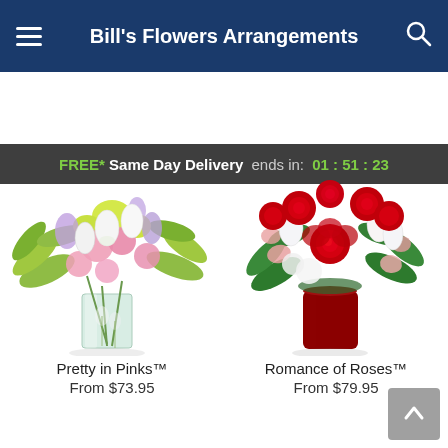Bill's Flowers Arrangements
FREE* Same Day Delivery ends in: 01:51:23
[Figure (photo): Pink flower arrangement with white tulips, pink carnations, lavender stock flowers, and green fern in a clear glass vase]
Pretty in Pinks™
From $73.95
[Figure (photo): Red and white rose arrangement with red roses, white tulips, pink alstroemeria, and green foliage in a red cylindrical vase]
Romance of Roses™
From $79.95